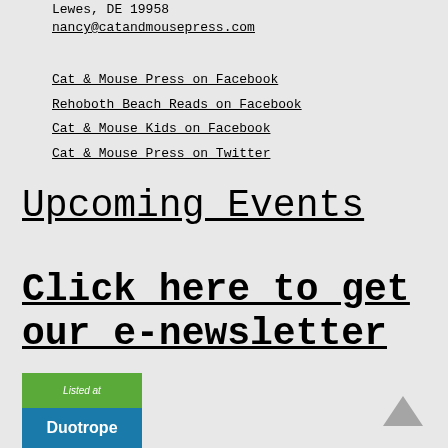Lewes, DE 19958
nancy@catandmousepress.com
Cat & Mouse Press on Facebook
Rehoboth Beach Reads on Facebook
Cat & Mouse Kids on Facebook
Cat & Mouse Press on Twitter
Upcoming Events
Click here to get our e-newsletter
[Figure (logo): Duotrope badge with green top section reading 'Listed at' and blue bottom section reading 'Duotrope']
[Figure (illustration): Scroll-to-top arrow icon (chevron pointing up) in grey]